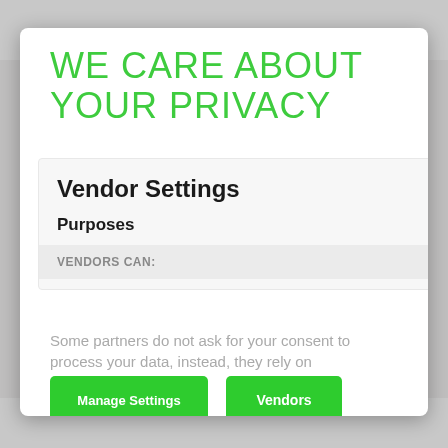[Figure (screenshot): Background showing a blurred e-commerce or product page]
WE CARE ABOUT YOUR PRIVACY
Vendor Settings
Purposes
VENDORS CAN:
Some partners do not ask for your consent to process your data, instead, they rely on
Manage Settings
Vendors
Accept All
Reject All
Save & Exit